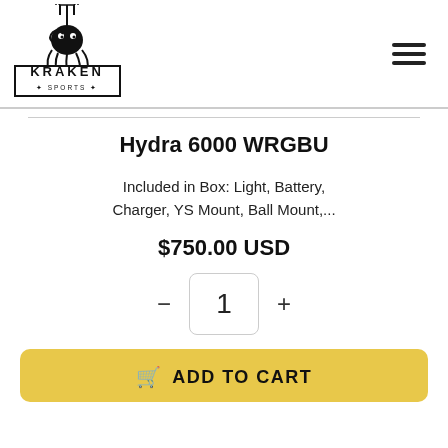[Figure (logo): Kraken Sports logo with octopus holding trident above text KRAKEN SPORTS in bordered rectangular frame]
Hydra 6000 WRGBU
Included in Box: Light, Battery, Charger, YS Mount, Ball Mount,...
$750.00 USD
1
ADD TO CART